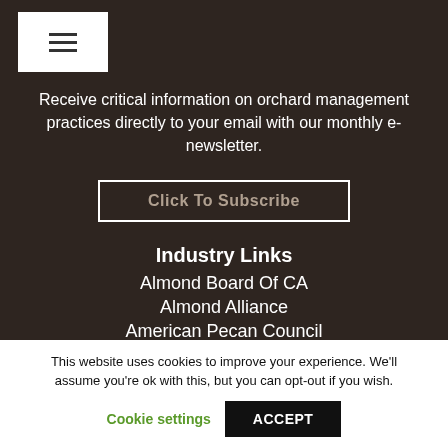[Figure (other): Hamburger menu button — three horizontal lines icon on white background]
Receive critical information on orchard management practices directly to your email with our monthly e-newsletter.
Click To Subscribe
Industry Links
Almond Board Of CA
Almond Alliance
American Pecan Council
American Pistachio Growers
This website uses cookies to improve your experience. We'll assume you're ok with this, but you can opt-out if you wish.
Cookie settings
ACCEPT